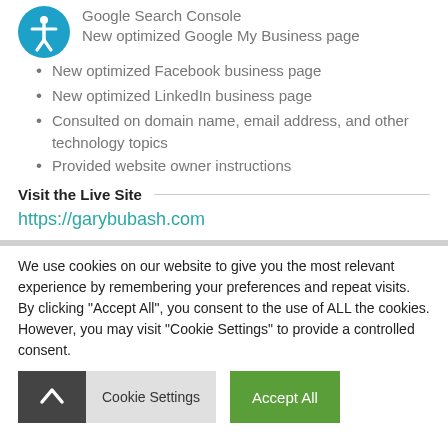Google Search Console
New optimized Google My Business page
New optimized Facebook business page
New optimized LinkedIn business page
Consulted on domain name, email address, and other technology topics
Provided website owner instructions
Visit the Live Site
https://garybubash.com
We use cookies on our website to give you the most relevant experience by remembering your preferences and repeat visits. By clicking “Accept All”, you consent to the use of ALL the cookies. However, you may visit “Cookie Settings” to provide a controlled consent.